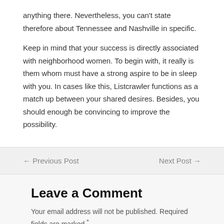anything there. Nevertheless, you can't state therefore about Tennessee and Nashville in specific.
Keep in mind that your success is directly associated with neighborhood women. To begin with, it really is them whom must have a strong aspire to be in sleep with you. In cases like this, Listcrawler functions as a match up between your shared desires. Besides, you should enough be convincing to improve the possibility.
← Previous Post
Next Post →
Leave a Comment
Your email address will not be published. Required fields are marked *